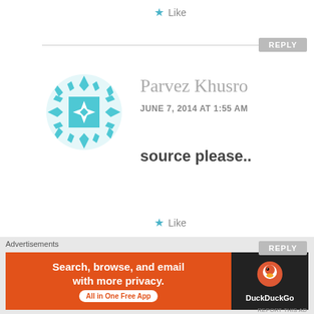★ Like
REPLY
[Figure (illustration): Teal geometric diamond/snowflake avatar for user Parvez Khusro]
Parvez Khusro
JUNE 7, 2014 AT 1:55 AM
source please..
★ Like
REPLY
[Figure (illustration): Dark blue/purple geometric avatar for user MK]
MK
Advertisements
[Figure (screenshot): DuckDuckGo advertisement banner: Search, browse, and email with more privacy. All in One Free App. Shows DuckDuckGo duck logo on dark background.]